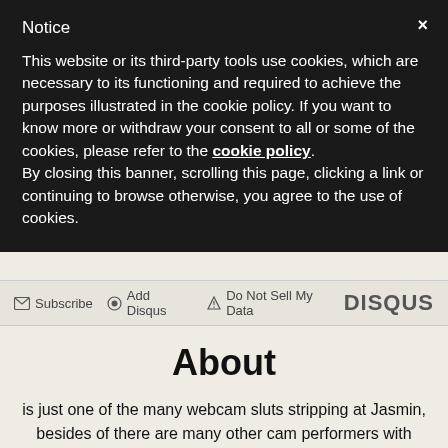Notice
This website or its third-party tools use cookies, which are necessary to its functioning and required to achieve the purposes illustrated in the cookie policy. If you want to know more or withdraw your consent to all or some of the cookies, please refer to the cookie policy. By closing this banner, scrolling this page, clicking a link or continuing to browse otherwise, you agree to the use of cookies.
✉ Subscribe  ⊙ Add Disqus  ▲ Do Not Sell My Data   DISQUS
About
is just one of the many webcam sluts stripping at Jasmin, besides of there are many other cam performers with freebie and private webcam chatrooms. Jasmin Live Web Cams is one of the largest live web cam sites on the world wide web. At Jasmine you can find several hundred live webcam performers, and there are consistently